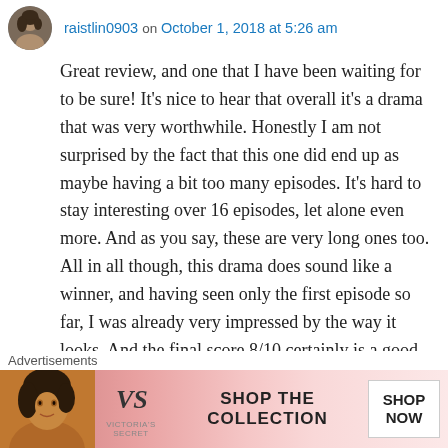raistlin0903 on October 1, 2018 at 5:26 am
Great review, and one that I have been waiting for to be sure! It's nice to hear that overall it's a drama that was very worthwhile. Honestly I am not surprised by the fact that this one did end up as maybe having a bit too many episodes. It's hard to stay interesting over 16 episodes, let alone even more. And as you say, these are very long ones too. All in all though, this drama does sound like a winner, and having seen only the first episode so far, I was already very impressed by the way it looks. And the final score 8/10 certainly is a good one for a drama 😊 Definitely
Advertisements
[Figure (photo): Victoria's Secret advertisement banner with a woman's face on the left, VS logo in center-left, text 'SHOP THE COLLECTION' in center, and 'SHOP NOW' button on the right, pink gradient background.]